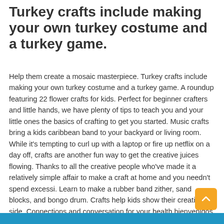Turkey crafts include making your own turkey costume and a turkey game.
Help them create a mosaic masterpiece. Turkey crafts include making your own turkey costume and a turkey game. A roundup featuring 22 flower crafts for kids. Perfect for beginner crafters and little hands, we have plenty of tips to teach you and your little ones the basics of crafting to get you started. Music crafts bring a kids caribbean band to your backyard or living room. While it’s tempting to curl up with a laptop or fire up netflix on a day off, crafts are another fun way to get the creative juices flowing. Thanks to all the creative people who've made it a relatively simple affair to make a craft at home and you needn't spend excessi. Learn to make a rubber band zither, sand blocks, and bongo drum. Crafts help kids show their creative side. Connections and conversation for your health bienvenidos learn how to use mayo clinic connect community guidelines help center request an appointment crafting with the kids can be so fun. Learn about crafts kids can make to celebrate thanksgiving. Going out to snag art supplies migh. These music crafts for kids will ta.